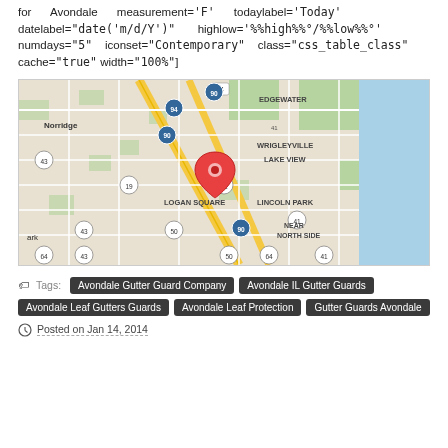for Avondale measurement='F' todaylabel='Today' datelabel="date('m/d/Y')" highlow='%%high%%°/%%low%%°' numdays="5" iconset="Contemporary" class="css_table_class" cache="true" width="100%"]
[Figure (map): Google map showing Avondale area in Chicago, IL with a red map pin marker. Shows neighborhoods including Norridge, Edgewater, Wrigleyville, Lake View, Logan Square, Lincoln Park, Near North Side. Highway 90 and 94 visible.]
Tags: Avondale Gutter Guard Company, Avondale IL Gutter Guards, Avondale Leaf Gutters Guards, Avondale Leaf Protection, Gutter Guards Avondale
Posted on Jan 14, 2014